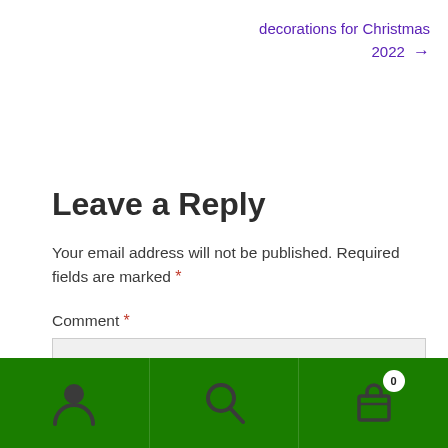decorations for Christmas 2022 →
Leave a Reply
Your email address will not be published. Required fields are marked *
Comment *
[Figure (screenshot): Green bottom navigation bar with user icon, search icon, and cart icon with badge showing 0]